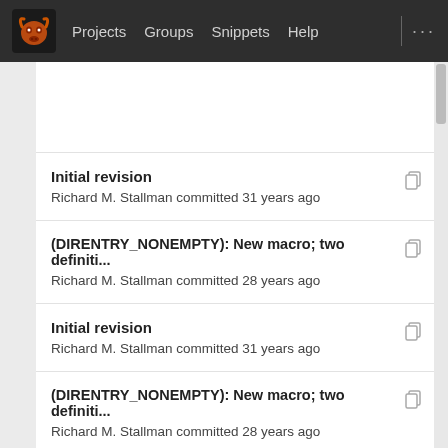Projects  Groups  Snippets  Help
Initial revision
Richard M. Stallman committed 31 years ago
(DIRENTRY_NONEMPTY): New macro; two definiti...
Richard M. Stallman committed 28 years ago
Initial revision
Richard M. Stallman committed 31 years ago
(DIRENTRY_NONEMPTY): New macro; two definiti...
Richard M. Stallman committed 28 years ago